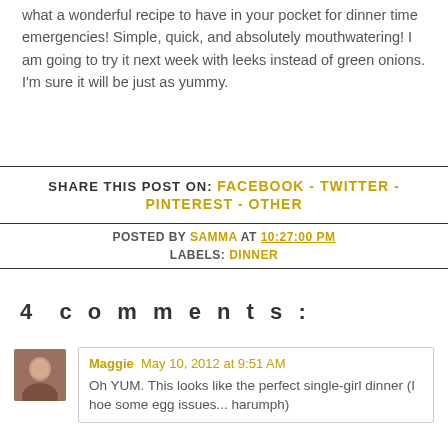What a wonderful recipe to have in your pocket for dinner time emergencies! Simple, quick, and absolutely mouthwatering! I am going to try it next week with leeks instead of green onions. I'm sure it will be just as yummy.
SHARE THIS POST ON: FACEBOOK - TWITTER - PINTEREST - OTHER
POSTED BY SAMMA AT 10:27:00 PM
LABELS: DINNER
4 comments:
Maggie May 10, 2012 at 9:51 AM
Oh YUM. This looks like the perfect single-girl dinner (I hoe some egg issues... harumph)